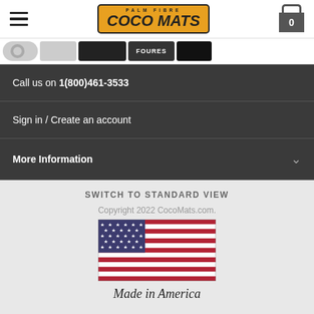Palm Fibre Coco Mats - Logo and navigation header
[Figure (screenshot): Social media icons strip showing Google, and other platform icons in black]
Call us on 1(800)461-3533
Sign in / Create an account
More Information
SWITCH TO STANDARD VIEW
Copyright 2022 CocoMats.com.
[Figure (illustration): US flag with Made in America text below]
Made in America